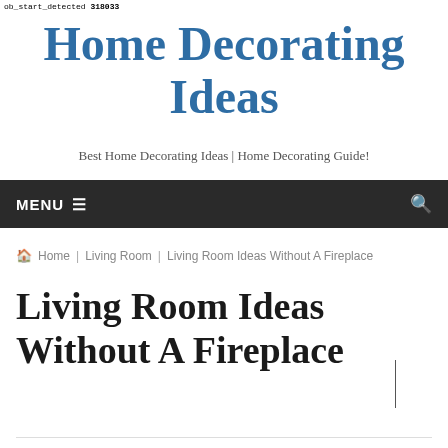ob_start_detected 318033
Home Decorating Ideas
Best Home Decorating Ideas | Home Decorating Guide!
MENU ☰ 🔍
🏠 Home | Living Room | Living Room Ideas Without A Fireplace
Living Room Ideas Without A Fireplace